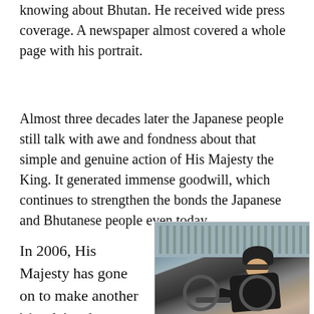knowing about Bhutan. He received wide press coverage. A newspaper almost covered a whole page with his portrait.
Almost three decades later the Japanese people still talk with awe and fondness about that simple and genuine action of His Majesty the King. It generated immense goodwill, which continues to strengthen the bonds the Japanese and Bhutanese people even today.
In 2006, His Majesty has gone on to make another 'simple' and
[Figure (photo): A person wearing a black helmet and sunglasses riding a bicycle, dressed in black, with a stone wall and vegetation in the background.]